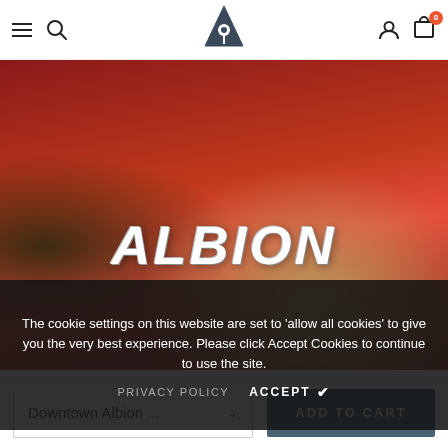[Figure (screenshot): E-commerce website navigation bar with hamburger menu, search icon, logo (triangle with location pin), user account icon, and shopping cart with badge showing 0]
[Figure (photo): Close-up photo of a red baseball cap with 'ALBION' embroidered in white letters on the front panel, shown against a blurred warm background]
The cookie settings on this website are set to 'allow all cookies' to give you the very best experience. Please click Accept Cookies to continue to use the site.
PRIVACY POLICY   ACCEPT ✔
Downtown Albion ...   ADD TO CART